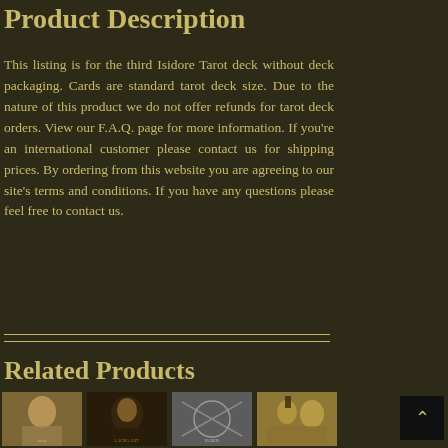Product Description
This listing is for the third Isidore Tarot deck without deck packaging. Cards are standard tarot deck size. Due to the nature of this product we do not offer refunds for tarot deck orders. View our F.A.Q. page for more information. If you’re an international customer please contact us for shipping prices. By ordering from this website you are agreeing to our site’s terms and conditions. If you have any questions please feel free to contact us.
Related Products
[Figure (photo): Four product thumbnail images of tarot deck related products displayed in a row]